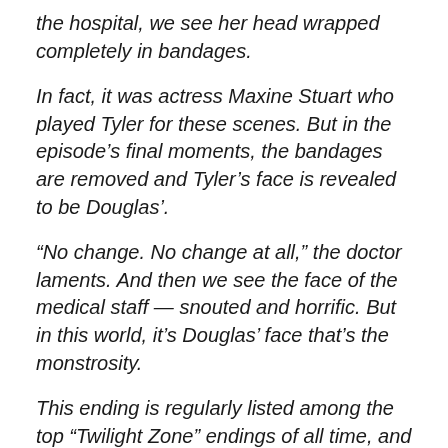the hospital, we see her head wrapped completely in bandages.
In fact, it was actress Maxine Stuart who played Tyler for these scenes. But in the episode's final moments, the bandages are removed and Tyler's face is revealed to be Douglas'.
“No change. No change at all,” the doctor laments. And then we see the face of the medical staff — snouted and horrific. But in this world, it's Douglas’ face that's the monstrosity.
This ending is regularly listed among the top “Twilight Zone” endings of all time, and the image of a horrified Douglas being restrained by the bizarre-looking doctor is one that's made its way onto many T-shirts and posters.